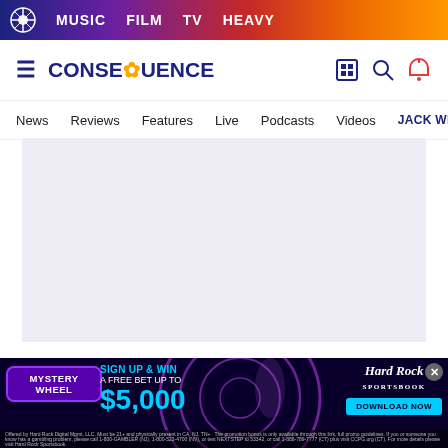MUSIC  FILM  TV  HEAVY
CONSEQUENCE — News  Reviews  Features  Live  Podcasts  Videos  JACK WH
[Figure (other): Light gray placeholder image area for article content]
12. “Where I’m From”
[Figure (other): Hard Rock Sportsbook advertisement banner — Mystery Wheel, Sign Up & Win A Free Bet Up To $5,000, Download Now]